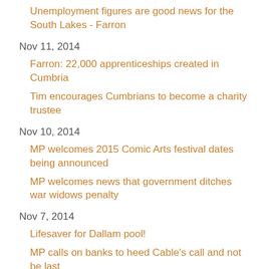Unemployment figures are good news for the South Lakes - Farron
Nov 11, 2014
Farron: 22,000 apprenticeships created in Cumbria
Tim encourages Cumbrians to become a charity trustee
Nov 10, 2014
MP welcomes 2015 Comic Arts festival dates being announced
MP welcomes news that government ditches war widows penalty
Nov 7, 2014
Lifesaver for Dallam pool!
MP calls on banks to heed Cable's call and not be last